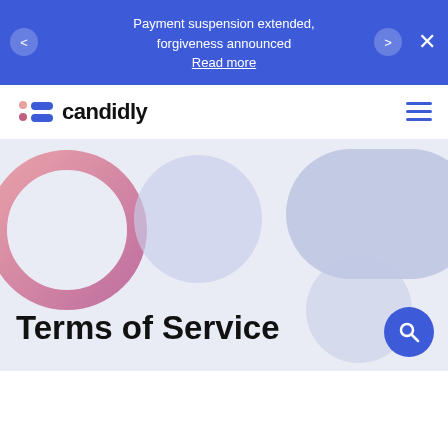Payment suspension extended, forgiveness announced
Read more
[Figure (logo): Candidly logo with icon and wordmark]
[Figure (illustration): Decorative hero section with pink ring circle, light blue circles and pill shape on a light blue-gray background]
Terms of Service